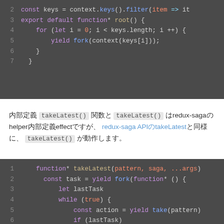[Figure (screenshot): Code block showing JavaScript with line numbers 2-7: const keys = context.keys().filter(item => it..., export default function* root() {, for (let i = 0; i < keys.length; i ++) {, yield fork(context(keys[i]));, }, }]
内部定義 takeLatest() 関数と takeLatest() はredux-sagaのhelper内部定義effectですが、 redux-saga APIのtakeLatestと同様に、 takeLatest() が動作します。
[Figure (screenshot): Code block showing JavaScript generator function takeLatest(pattern, saga, ...args) with lines 1-7+: function* takeLatest(pattern, saga, ...args), const task = yield fork(function* () {, let lastTask, while (true) {, const action = yield take(pattern), if (lastTask), yield cancel(lastTask)]